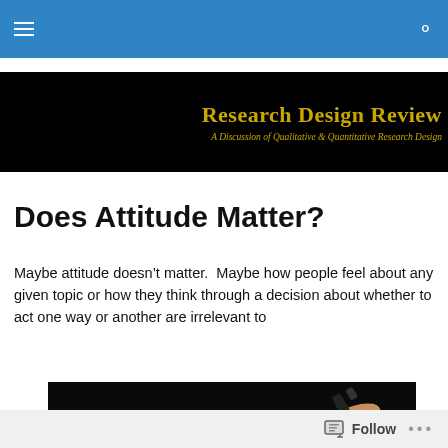Research Design Review — A Discussion of Qualitative & Quantitative Research Design
Does Attitude Matter?
Maybe attitude doesn't matter.  Maybe how people feel about any given topic or how they think through a decision about whether to act one way or another are irrelevant to
[Figure (photo): A hand holding a pen/marker against a dark background]
Follow